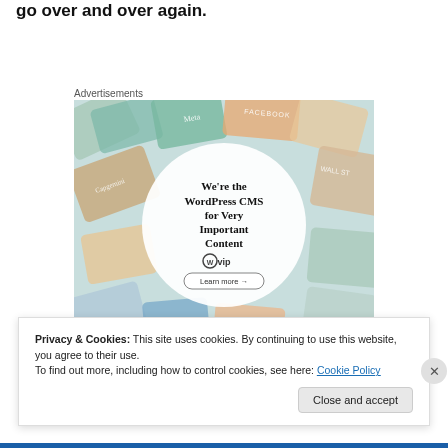go over and over again.
Advertisements
[Figure (illustration): WordPress VIP advertisement showing colorful brand cards in background with a white circle overlay containing text: We're the WordPress CMS for Very Important Content, with WordPress VIP logo and Learn more button]
Privacy & Cookies: This site uses cookies. By continuing to use this website, you agree to their use.
To find out more, including how to control cookies, see here: Cookie Policy
Close and accept